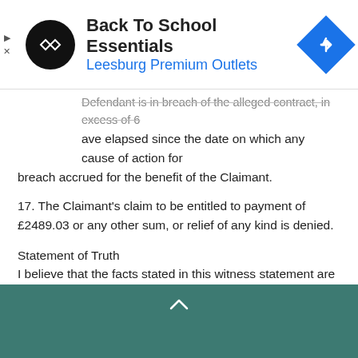[Figure (screenshot): Advertisement banner for Back To School Essentials at Leesburg Premium Outlets with circular logo and blue directional arrow icon]
Defendant is in breach of the alleged contract, in excess of 6 years have elapsed since the date on which any cause of action for breach accrued for the benefit of the Claimant.
17. The Claimant's claim to be entitled to payment of £2489.03 or any other sum, or relief of any kind is denied.
Statement of Truth
I believe that the facts stated in this witness statement are true. I understand that proceedings for contempt of court may be brought against anyone who makes, or causes to be made, a false statement in a document verified by a statement of truth without an honest belief in its truth.
Signed: xxxx Dated: 17/05/2022